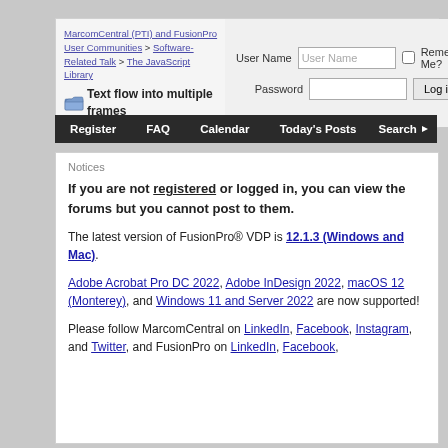MarcomCentral (PTI) and FusionPro User Communities > Software-Related Talk > The JavaScript Library  Text flow into multiple frames
User Name | Password | Remember Me? | Log in
Register  FAQ  Calendar  Today's Posts  Search
Notices
If you are not registered or logged in, you can view the forums but you cannot post to them.
The latest version of FusionPro® VDP is 12.1.3 (Windows and Mac).
Adobe Acrobat Pro DC 2022, Adobe InDesign 2022, macOS 12 (Monterey), and Windows 11 and Server 2022 are now supported!
Please follow MarcomCentral on LinkedIn, Facebook, Instagram, and Twitter, and FusionPro on LinkedIn, Facebook,